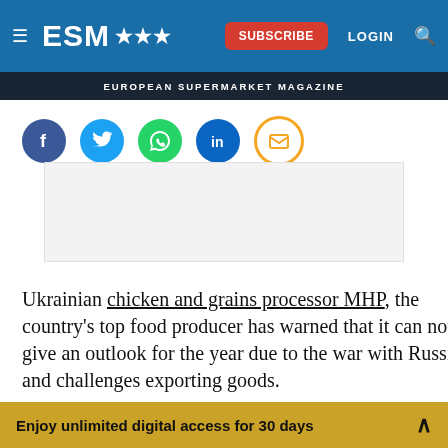ESM | EUROPEAN SUPERMARKET MAGAZINE
[Figure (other): Social share icons row: Facebook (blue circle), Twitter (light blue circle), WhatsApp (green circle), LinkedIn (dark blue circle), Email (orange outlined circle)]
[Figure (other): Advertisement placeholder block (light grey rectangle)]
Ukrainian chicken and grains processor MHP, the country's top food producer has warned that it can not give an outlook for the year due to the war with Russia and challenges exporting goods.
Enjoy unlimited digital access for 30 days